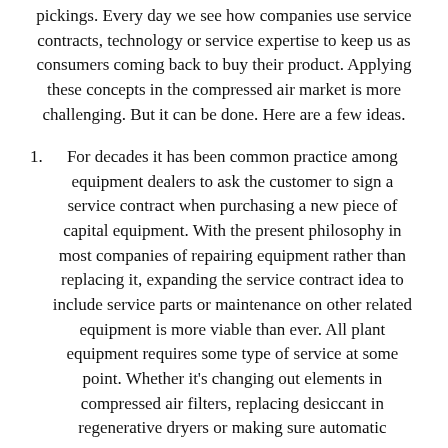pickings.  Every day we see how companies use service contracts, technology or service expertise to keep us as consumers coming back to buy their product.  Applying these concepts in the compressed air market is more challenging.  But it can be done.  Here are a few ideas.
For decades it has been common practice among equipment dealers to ask the customer to sign a service contract when purchasing a new piece of capital equipment.  With the present philosophy in most companies of repairing equipment rather than replacing it, expanding the service contract idea to include service parts or maintenance on other related equipment is more viable than ever.  All plant equipment requires some type of service at some point.  Whether it's changing out elements in compressed air filters, replacing desiccant in regenerative dryers or making sure automatic